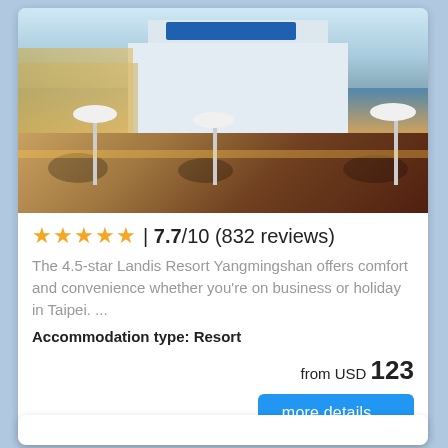[Figure (photo): Exterior photo of Landis Resort Yangmingshan hotel showing a modern white building with a wooden deck terrace with outdoor seating and umbrellas in the foreground, blue sky background.]
★★★★★ | 7.7/10 (832 reviews)
The 4.5-star Landis Resort Yangmingshan offers comfort and convenience whether you're on business or holiday in Taipei. ...
Accommodation type: Resort
from USD 123
more details ...